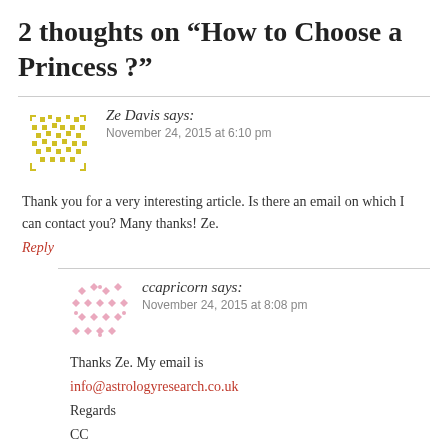2 thoughts on “How to Choose a Princess ?”
Ze Davis says:
November 24, 2015 at 6:10 pm
Thank you for a very interesting article. Is there an email on which I can contact you? Many thanks! Ze.
Reply
ccapricorn says:
November 24, 2015 at 8:08 pm
Thanks Ze. My email is info@astrologyresearch.co.uk
Regards
CC
Reply